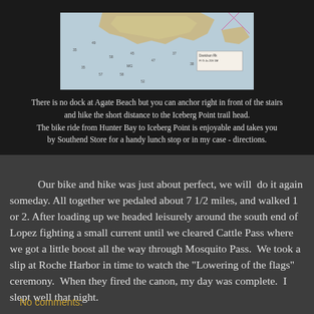[Figure (map): A nautical/topographic map showing Agate Beach area with Davidson Rock marked, depth soundings, and coastal features.]
There is no dock at Agate Beach but you can anchor right in front of the stairs and hike the short distance to the Iceberg Point trail head. The bike ride from Hunter Bay to Iceberg Point is enjoyable and takes you by Southend Store for a handy lunch stop or in my case - directions.
Our bike and hike was just about perfect, we will  do it again someday. All together we pedaled about 7 1/2 miles, and walked 1 or 2. After loading up we headed leisurely around the south end of Lopez fighting a small current until we cleared Cattle Pass where we got a little boost all the way through Mosquito Pass.  We took a slip at Roche Harbor in time to watch the "Lowering of the flags" ceremony.  When they fired the canon, my day was complete.  I slept well that night.
No comments: